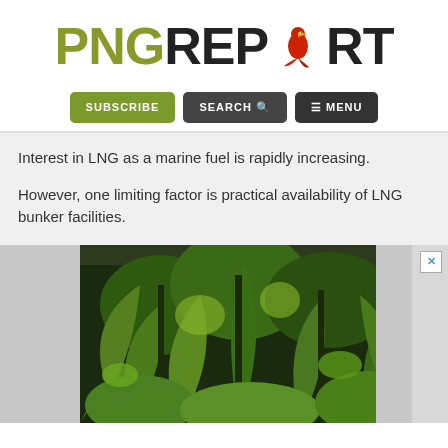[Figure (logo): PNG Report logo with stylized text and bird graphic]
[Figure (screenshot): Navigation bar with SUBSCRIBE, SEARCH, and MENU buttons]
Interest in LNG as a marine fuel is rapidly increasing.
However, one limiting factor is practical availability of LNG bunker facilities.
[Figure (photo): Tropical jungle/rainforest vegetation with dense green foliage, palm leaves, and trees]